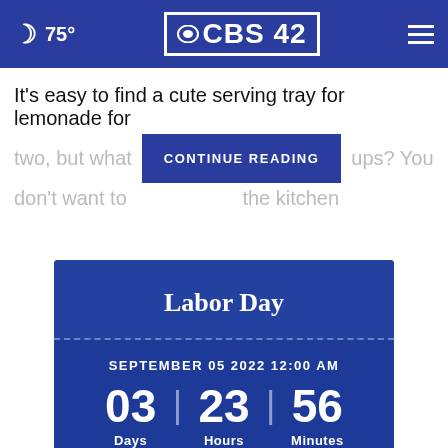75° CBS 42
It's easy to find a cute serving tray for lemonade for two, but what [CONTINUE READING] ups? You don't want to [obscured] the kitchen
[Figure (infographic): Labor Day countdown widget showing SEPTEMBER 05 2022 12:00 AM with 03 Days, 23 Hours, 56 Minutes remaining]